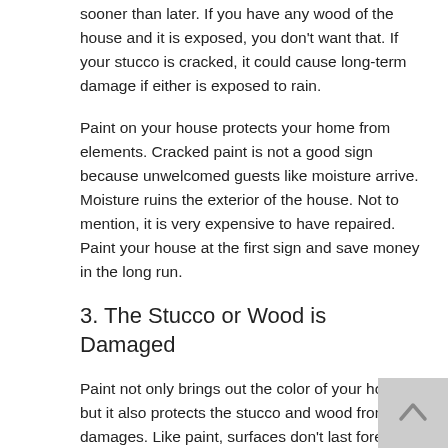sooner than later. If you have any wood of the house and it is exposed, you don't want that. If your stucco is cracked, it could cause long-term damage if either is exposed to rain.
Paint on your house protects your home from elements. Cracked paint is not a good sign because unwelcomed guests like moisture arrive. Moisture ruins the exterior of the house. Not to mention, it is very expensive to have repaired. Paint your house at the first sign and save money in the long run.
3. The Stucco or Wood is Damaged
Paint not only brings out the color of your house, but it also protects the stucco and wood from damages. Like paint, surfaces don't last forever either. Assess the damage